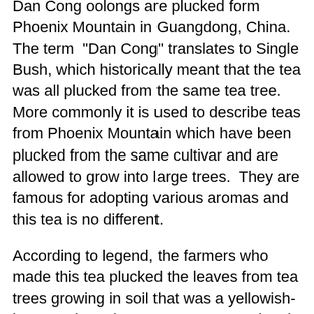Dan Cong oolongs are plucked form Phoenix Mountain in Guangdong, China. The term "Dan Cong" translates to Single Bush, which historically meant that the tea was all plucked from the same tea tree. More commonly it is used to describe teas from Phoenix Mountain which have been plucked from the same cultivar and are allowed to grow into large trees.  They are famous for adopting various aromas and this tea is no different.
According to legend, the farmers who made this tea plucked the leaves from tea trees growing in soil that was a yellowish-brown color.  The tea was so exceptional, they called it Ya Shi Xiang (Duck Shit Aroma), hoping to prevent people from stealing their tea or taking cuttings from